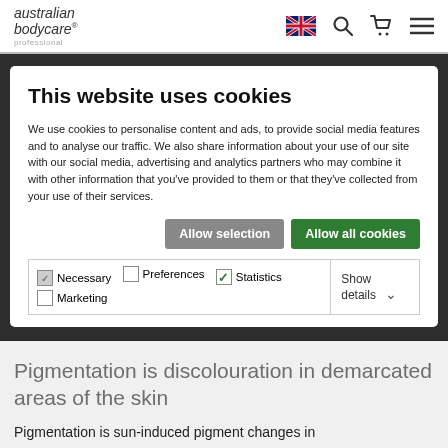australian bodycare
This website uses cookies
We use cookies to personalise content and ads, to provide social media features and to analyse our traffic. We also share information about your use of our site with our social media, advertising and analytics partners who may combine it with other information that you've provided to them or that they've collected from your use of their services.
| Necessary | Preferences | Statistics | Show details |
| Marketing |  |  |  |
Pigmentation is discolouration in demarcated areas of the skin
Pigmentation is sun-induced pigment changes in